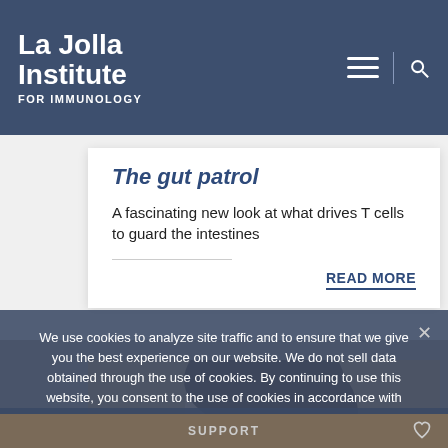La Jolla Institute FOR IMMUNOLOGY
The gut patrol
A fascinating new look at what drives T cells to guard the intestines
READ MORE
[Figure (photo): A person viewed from behind/side, appearing to look downward, in a research/laboratory context]
We use cookies to analyze site traffic and to ensure that we give you the best experience on our website. We do not sell data obtained through the use of cookies. By continuing to use this website, you consent to the use of cookies in accordance with our Privacy Policy.
Ok Privacy Policy
SUPPORT